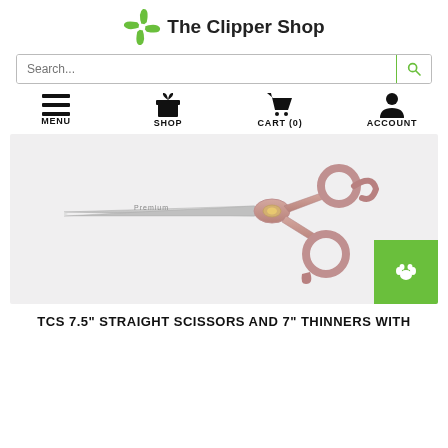[Figure (logo): The Clipper Shop logo with green pinwheel/fan icon and bold text 'The Clipper Shop']
[Figure (screenshot): Search bar with placeholder text 'Search...' and green search button icon]
[Figure (infographic): Navigation bar with four items: hamburger menu icon (MENU), gift box icon (SHOP), shopping cart icon (CART (0)), person icon (ACCOUNT)]
[Figure (photo): Rose gold / pink professional grooming scissors on light gray background. A green square button with a white paw print icon is in the bottom right corner.]
TCS 7.5" STRAIGHT SCISSORS AND 7" THINNERS WITH